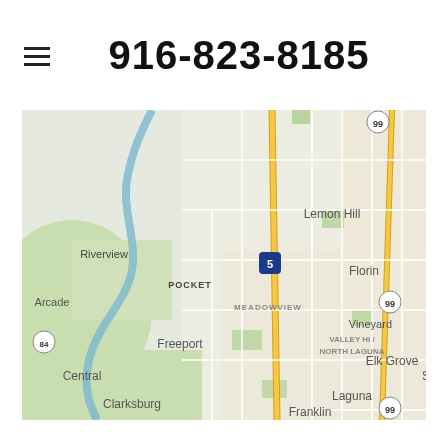916-823-8185
[Figure (map): Google Maps view showing Sacramento area neighborhoods including Riverview, Pocket, Lemon Hill, Florin, Meadowview, Freeport, Valley Hi/North Laguna, Vineyard, Clarksburg, Laguna, Elk Grove, Central, and Franklin. Major highways shown include Interstate 5 and Highway 99.]